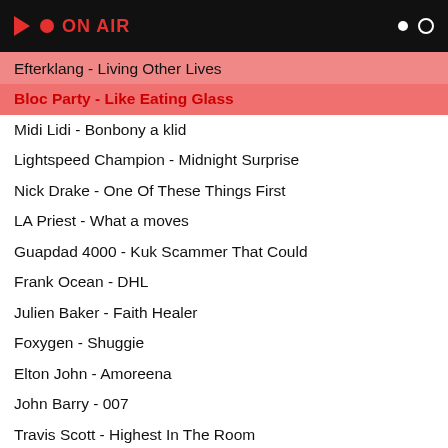ON AIR
Efterklang - Living Other Lives
Bloc Party - Like Eating Glass
Midi Lidi - Bonbony a klid
Lightspeed Champion - Midnight Surprise
Nick Drake - One Of These Things First
LA Priest - What a moves
Guapdad 4000 - Kuk Scammer That Could
Frank Ocean - DHL
Julien Baker - Faith Healer
Foxygen - Shuggie
Elton John - Amoreena
John Barry - 007
Travis Scott - Highest In The Room
Dirty Projector - Searching Spirit
Labi Siffre - Bless The Telephone
Bixio, Frizzi, Tempera - 7 Note In Nero
Michael Masser - My Hero Is a Gun
Whitey - People
Pusha T ft, Jill Scott - Sunshine